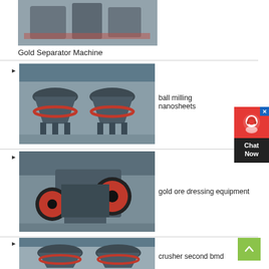[Figure (photo): Industrial gold separator machine in factory setting]
Gold Separator Machine
[Figure (photo): Ball milling machine (cone crusher) in industrial factory]
ball milling nanosheets
[Figure (photo): Jaw crusher machine for gold ore dressing in factory]
gold ore dressing equipment
[Figure (photo): Cone crusher machine in industrial factory]
crusher second bmd